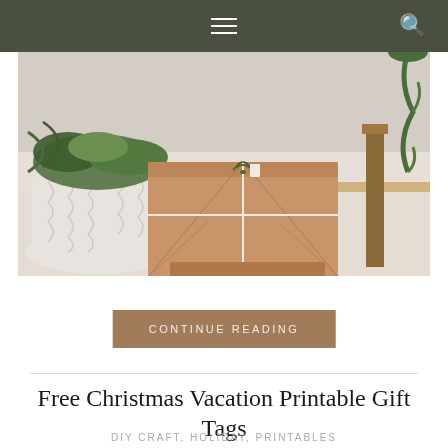Navigation bar with hamburger menu and search icon
[Figure (photo): A kraft paper-wrapped gift box tied with white twine and a small sprig of greenery on top, placed on a light carpet near a white textured planter with greenery and a wooden furniture leg in the background.]
CONTINUE READING
Free Christmas Vacation Printable Gift Tags
DIY CRAFT, HOLIDAY, PRINTABLES